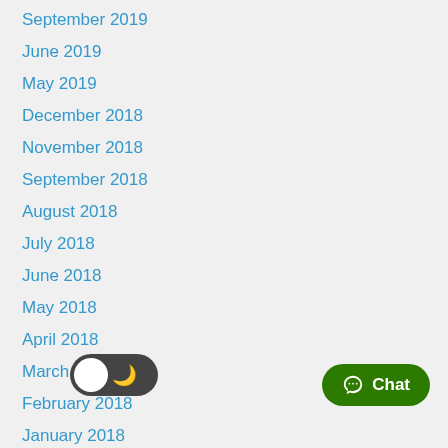September 2019
June 2019
May 2019
December 2018
November 2018
September 2018
August 2018
July 2018
June 2018
May 2018
April 2018
March 2018
February 2018
January 2018
December 2017